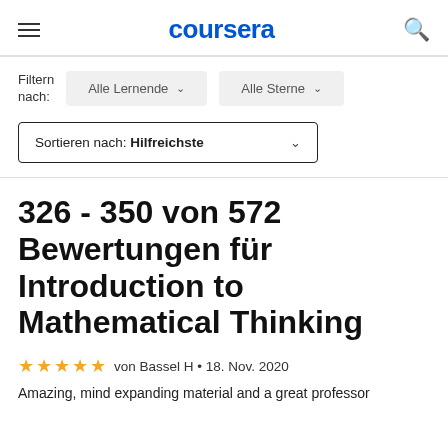coursera
Filtern nach:  Alle Lernende  ∨   Alle Sterne  ∨
Sortieren nach: Hilfreichste  ∨
326 - 350 von 572 Bewertungen für Introduction to Mathematical Thinking
★★★★★  von Bassel H  •  18. Nov. 2020
Amazing, mind expanding material and a great professor